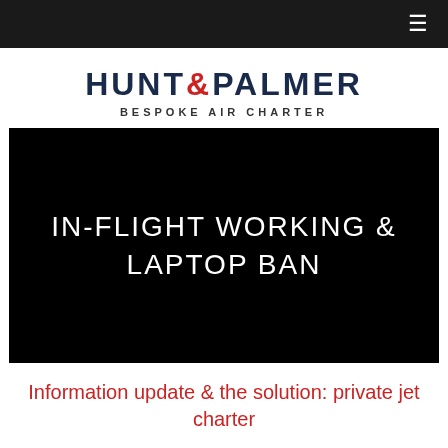≡
[Figure (logo): Hunt & Palmer Bespoke Air Charter logo — HUNT&PALMER in dark navy large bold letters with red ampersand, and BESPOKE AIR CHARTER subtitle in small spaced capitals]
[Figure (photo): Black hero image with white text reading IN-FLIGHT WORKING & LAPTOP BAN in large light-weight capital letters centered on black background]
Information update & the solution: private jet charter